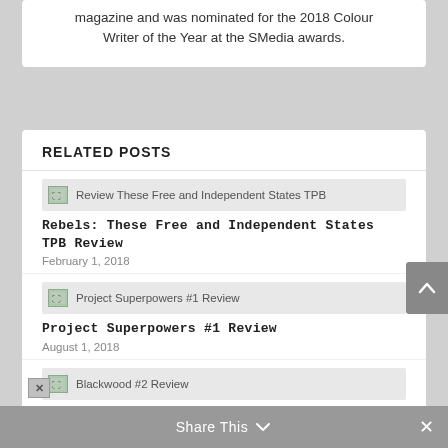magazine and was nominated for the 2018 Colour Writer of the Year at the SMedia awards.
RELATED POSTS
Rebels: These Free and Independent States TPB Review — February 1, 2018
Project Superpowers #1 Review — August 1, 2018
Blackwood #2 Review
Share This ∨  ✕